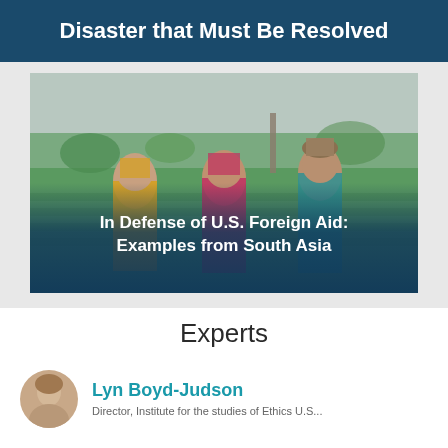Disaster that Must Be Resolved
[Figure (photo): Three women in colorful saris (yellow, pink/red, teal) standing in a green agricultural field in South Asia, one carrying a basket on her head, smiling. Overlaid caption text: 'In Defense of U.S. Foreign Aid: Examples from South Asia']
In Defense of U.S. Foreign Aid: Examples from South Asia
Experts
Lyn Boyd-Judson
Director, Institute for the studies of Ethics U.S...